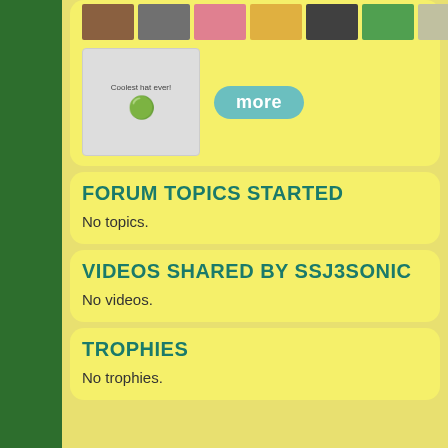[Figure (screenshot): Top image strip showing thumbnail photos in a row, with one larger thumbnail below and a 'more' button]
FORUM TOPICS STARTED
No topics.
VIDEOS SHARED BY SSJ3SONIC
No videos.
TROPHIES
No trophies.